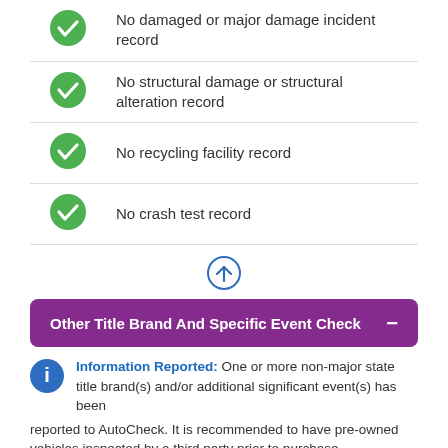No damaged or major damage incident record
No structural damage or structural alteration record
No recycling facility record
No crash test record
Other Title Brand And Specific Event Check
Information Reported: One or more non-major state title brand(s) and/or additional significant event(s) has been reported to AutoCheck. It is recommended to have pre-owned vehicles inspected by a third party prior to purchase.
1 Event(s) Reported     Vehicle Events Checked